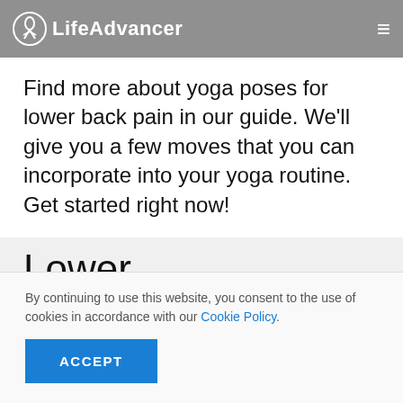LifeAdvancer
Find more about yoga poses for lower back pain in our guide. We'll give you a few moves that you can incorporate into your yoga routine. Get started right now!
Lower back pain
By continuing to use this website, you consent to the use of cookies in accordance with our Cookie Policy.
ACCEPT